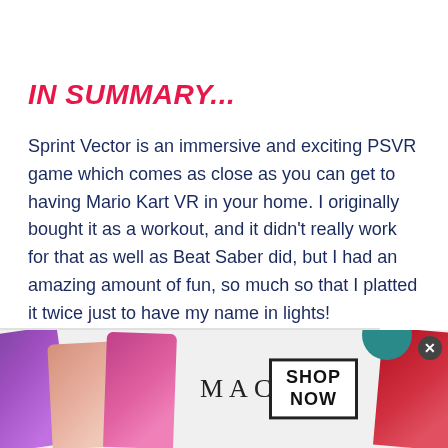IN SUMMARY...
Sprint Vector is an immersive and exciting PSVR game which comes as close as you can get to having Mario Kart VR in your home. I originally bought it as a workout, and it didn't really work for that as well as Beat Saber did, but I had an amazing amount of fun, so much so that I platted it twice just to have my name in lights!
[Figure (photo): Advertisement banner for MAC cosmetics showing colorful lipsticks on the left, MAC logo in the center, and a SHOP NOW box on the right]